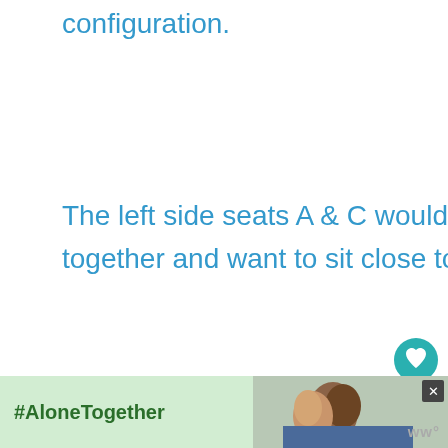configuration.
The left side seats A & C would be best for those who are travelling together and want to sit close together!
[Figure (other): Teal circular heart/favorite button icon]
[Figure (other): White circular share button with share icon]
[Figure (other): What's Next thumbnail showing SWISS Fleet Bombardier... with airplane image]
Unlike the oth...
[Figure (other): Advertisement banner: green background with #AloneTogether text and photo of two people, with a close (X) button and ww° logo]